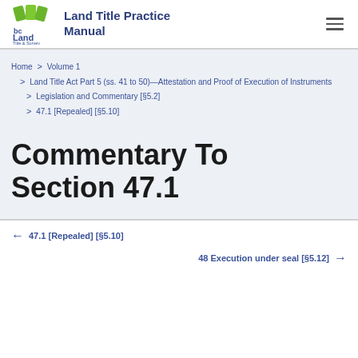Land Title Practice Manual
Home > Volume 1 > Land Title Act Part 5 (ss. 41 to 50)—Attestation and Proof of Execution of Instruments > Legislation and Commentary [§5.2] > 47.1 [Repealed] [§5.10]
Commentary To Section 47.1
← 47.1 [Repealed] [§5.10]
48 Execution under seal [§5.12] →